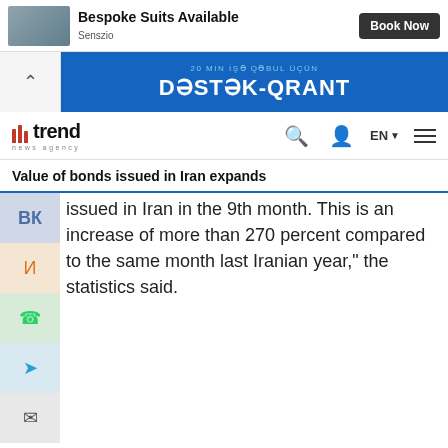[Figure (screenshot): Advertisement banner: image of hands with suits, text 'Bespoke Suits Available', 'Book Now' button, 'Senszio' label]
[Figure (screenshot): Blue banner advertisement with text 'DƏSTƏK-QRANT' in white on blue background]
trend news agency — navigation bar with search, user, EN language selector, and hamburger menu
Value of bonds issued in Iran expands
issued in Iran in the 9th month. This is an increase of more than 270 percent compared to the same month last Iranian year," the statistics said.
Tags:
Iran
issuing bonds in iran
Central Bank of Iran (CBI)